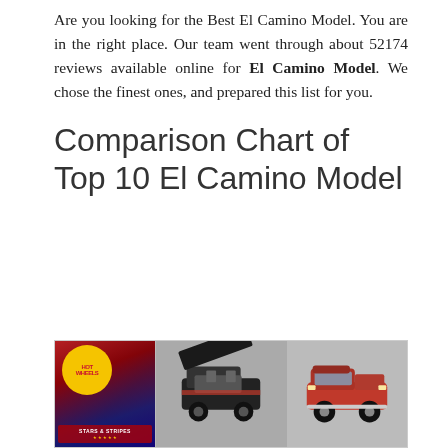Are you looking for the Best El Camino Model. You are in the right place. Our team went through about 52174 reviews available online for El Camino Model. We chose the finest ones, and prepared this list for you.
Comparison Chart of Top 10 El Camino Model
[Figure (photo): Product image showing three El Camino model cars: a Hot Wheels card on the left with American flag background and stars/stripes branding, a black and red model car with hood open in the middle, and a red El Camino model car on the right.]